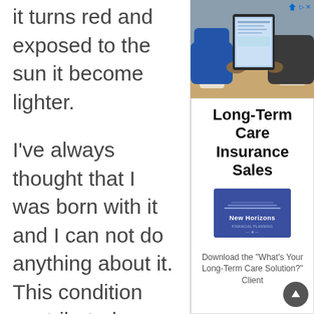it turns red and exposed to the sun it become lighter.
I've always thought that I was born with it and I can not do anything about it. This condition contributed greatly to my insecurity when I was a teenager. I did not dare to wear short sleeves and short skirts because of
[Figure (photo): Photo of two people at a table with coffee cups, one holding a tablet device. Advertisement photo for New Horizons insurance.]
Long-Term Care Insurance Sales
[Figure (logo): New Horizons company logo — white text on blue square background]
Download the "What's Your Long-Term Care Solution?" Client